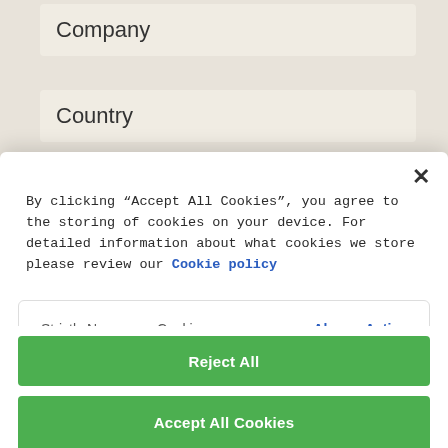Company
Country
By clicking “Accept All Cookies”, you agree to the storing of cookies on your device. For detailed information about what cookies we store please review our Cookie policy
Strictly Necessary Cookies
Always Active
Functional Cookies
Performance Cookies
Reject All
Accept All Cookies